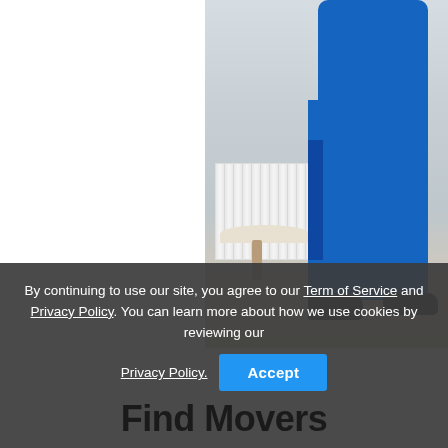[Figure (photo): A person wearing a blue uniform/coveralls bending down near a white radiator in a room with a light wooden floor and a small white round table. The left portion of the image area is white/blank.]
By continuing to use our site, you agree to our Term of Service and Privacy Policy. You can learn more about how we use cookies by reviewing our
Privacy Policy.
Accept
Find Movers